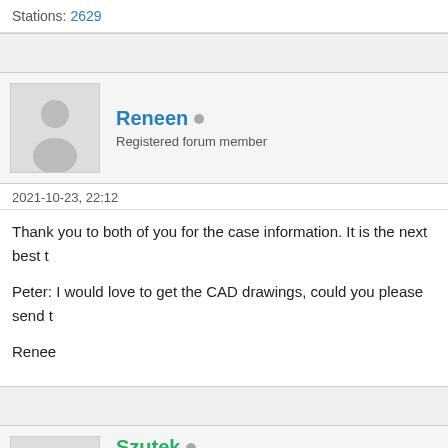Stations: 2629
Reneen
Registered forum member
2021-10-23, 22:12
Thank you to both of you for the case information. It is the next best t
Peter: I would love to get the CAD drawings, could you please send t
Renee
Szutek
Participant